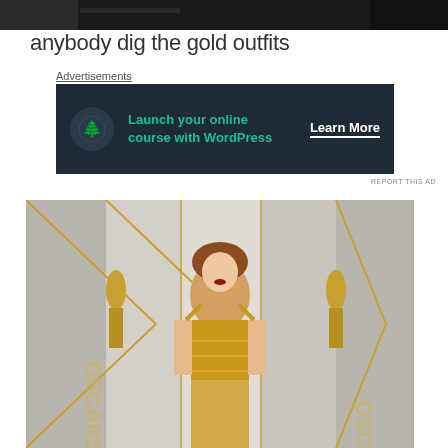[Figure (photo): Cropped top portion of a photo showing a dark background with partial view]
anybody dig the gold outfits
Advertisements
[Figure (other): Advertisement banner: Launch your online course with WordPress - Learn More, dark navy background with bonsai tree icon]
REPORT THIS AD
[Figure (photo): Woman in gold dress standing at Oscars red carpet with Oscar statues backdrop]